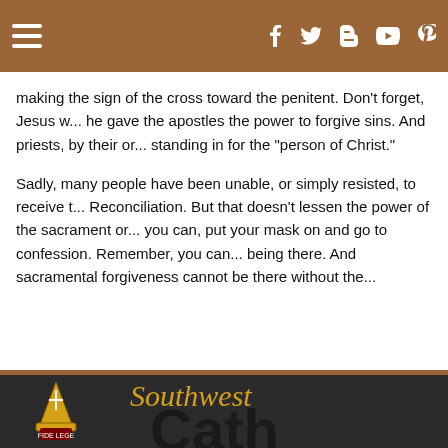Navigation bar with hamburger menu and social icons (f, Twitter, Blogger, YouTube, Pinterest)
making the sign of the cross toward the penitent. Don’t forget, Jesus w... he gave the apostles the power to forgive sins. And priests, by their or... standing in for the “person of Christ.”
Sadly, many people have been unable, or simply resisted, to receive t... Reconciliation. But that doesn’t lessen the power of the sacrament or... you can, put your mask on and go to confession. Remember, you can... being there. And sacramental forgiveness cannot be there without the...
[Figure (logo): Southwest Catholic logo — gold bishop's mitre/crest emblem with black 'Cath' large text and gold italic 'Southwest' script on dark background]